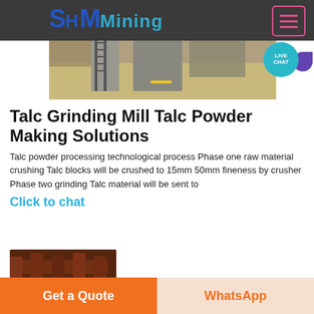[Figure (screenshot): SH Mining website header with dark grey background, blue logo 'SH MMining' and hamburger menu button with pink lines]
[Figure (photo): Outdoor mining/construction site photo showing concrete structures, ladders and machinery]
[Figure (infographic): Teal circular 'LIVE CHAT' badge with purple speech bubble tail]
Talc Grinding Mill Talc Powder Making Solutions
Talc powder processing technological process Phase one raw material crushing Talc blocks will be crushed to 15mm 50mm fineness by crusher Phase two grinding Talc material will be sent to
Click to chat
[Figure (photo): Close-up photo of brown metal industrial parts or brackets]
Get a Quote
WhatsApp